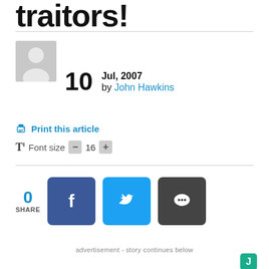traitors!
[Figure (photo): User avatar placeholder — grey silhouette of a person]
10  Jul, 2007  by John Hawkins
Print this article
T  Font size  -  16  +
0  SHARE
[Figure (other): Facebook share button (dark blue square with white f icon)]
[Figure (other): Twitter share button (light blue square with white bird icon)]
[Figure (other): Comment share button (dark grey square with white speech bubble icon)]
advertisement - story continues below
[Figure (logo): Green square badge with white J letter]